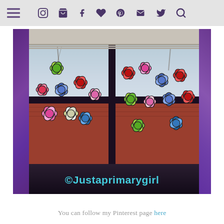Navigation bar with hamburger menu and social icons: Instagram, cart, Facebook, heart, Pinterest, mail, Twitter, search
[Figure (photo): Classroom window with colorful paper flower decorations stuck to the glass panes, purple curtains on the sides, venetian blind at the top, red brick building visible outside, with watermark text ©Justaprimarygirl in teal/cyan color overlay]
You can follow my Pinterest page here